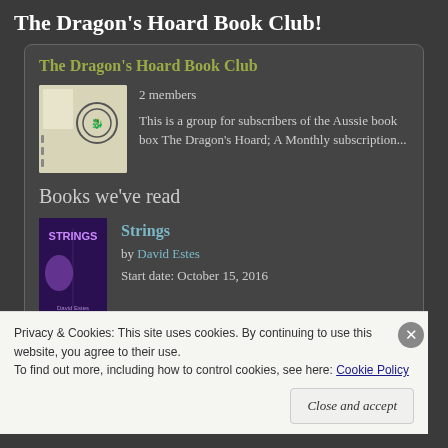The Dragon's Hoard Book Club!
The Dragon's Hoard Book Club
2 members
This is a group for subscribers of the Aussie book box The Dragon's Hoard; A Monthly subscription...
Books we've read
Strings
by David Estes
Start date: October 15, 2016
Privacy & Cookies: This site uses cookies. By continuing to use this website, you agree to their use.
To find out more, including how to control cookies, see here: Cookie Policy
Close and accept